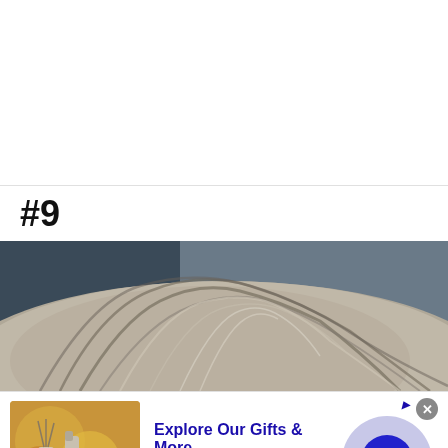#9
[Figure (photo): Close-up top of a person's head showing grey/dark hair against a dark background]
[Figure (infographic): Advertisement banner for 1800flowers.com: Explore Our Gifts & More. Personalized Gifts - Spa Baskets - Get Sets. www.1800flowers.com]